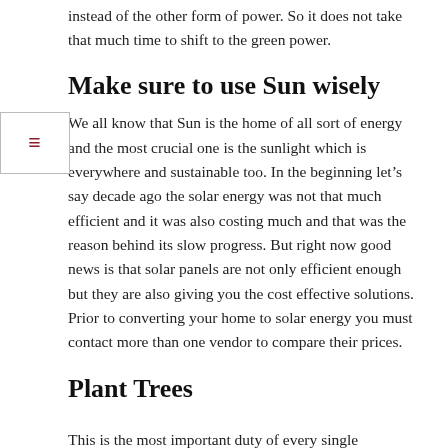can pay extra surcharge and you will get green power instead of the other form of power. So it does not take that much time to shift to the green power.
Make sure to use Sun wisely
We all know that Sun is the home of all sort of energy and the most crucial one is the sunlight which is everywhere and sustainable too. In the beginning let’s say decade ago the solar energy was not that much efficient and it was also costing much and that was the reason behind its slow progress. But right now good news is that solar panels are not only efficient enough but they are also giving you the cost effective solutions. Prior to converting your home to solar energy you must contact more than one vendor to compare their prices.
Plant Trees
This is the most important duty of every single